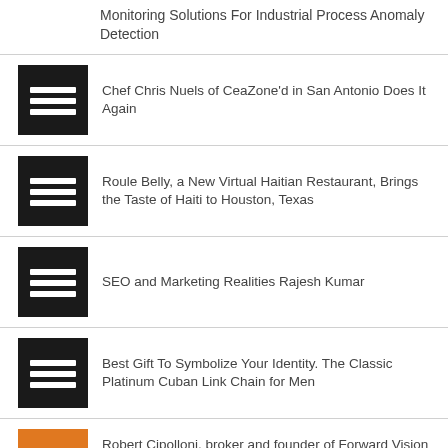Monitoring Solutions For Industrial Process Anomaly Detection
[Figure (illustration): Black square icon with three horizontal white lines (list/article thumbnail)]
Chef Chris Nuels of CeaZone'd in San Antonio Does It Again
[Figure (illustration): Black square icon with three horizontal white lines (list/article thumbnail)]
Roule Belly, a New Virtual Haitian Restaurant, Brings the Taste of Haiti to Houston, Texas
[Figure (illustration): Black square icon with three horizontal white lines (list/article thumbnail)]
SEO and Marketing Realities Rajesh Kumar
[Figure (illustration): Black square icon with three horizontal white lines (list/article thumbnail)]
Best Gift To Symbolize Your Identity. The Classic Platinum Cuban Link Chain for Men
[Figure (illustration): Orange square icon with three horizontal white lines (list/article thumbnail)]
Robert Cipolloni, broker and founder of Forward Vision INC™ launches DWELLING™ | REAL ESTATE to serve the Los Angeles